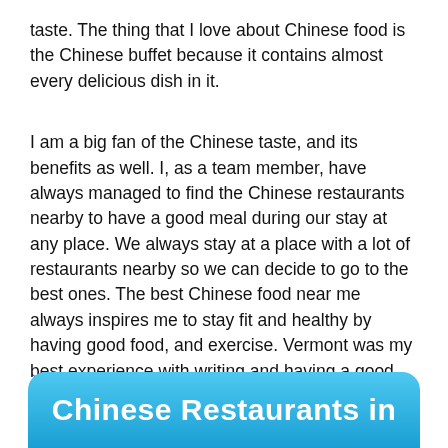taste. The thing that I love about Chinese food is the Chinese buffet because it contains almost every delicious dish in it.
I am a big fan of the Chinese taste, and its benefits as well. I, as a team member, have always managed to find the Chinese restaurants nearby to have a good meal during our stay at any place. We always stay at a place with a lot of restaurants nearby so we can decide to go to the best ones. The best Chinese food near me always inspires me to stay fit and healthy by having good food, and exercise. Vermont was my best experience with writing and having a good company of friends and people to interview.
Chinese Restaurants in